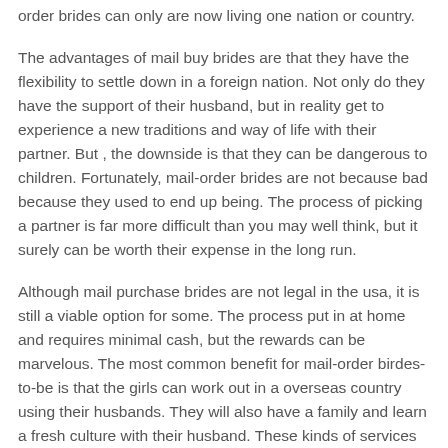order brides can only are now living one nation or country.
The advantages of mail buy brides are that they have the flexibility to settle down in a foreign nation. Not only do they have the support of their husband, but in reality get to experience a new traditions and way of life with their partner. But , the downside is that they can be dangerous to children. Fortunately, mail-order brides are not because bad because they used to end up being. The process of picking a partner is far more difficult than you may well think, but it surely can be worth their expense in the long run.
Although mail purchase brides are not legal in the usa, it is still a viable option for some. The process put in at home and requires minimal cash, but the rewards can be marvelous. The most common benefit for mail-order birdes-to-be is that the girls can work out in a overseas country using their husbands. They will also have a family and learn a fresh culture with their husband. These kinds of services really are a popular method to find